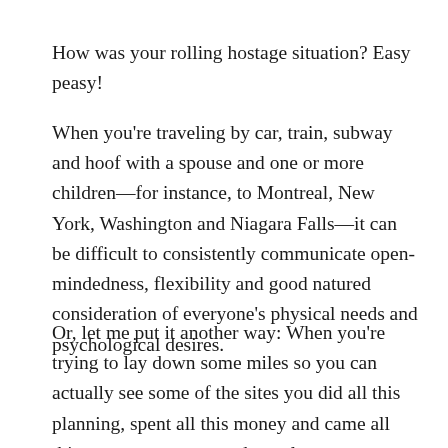How was your rolling hostage situation? Easy peasy!
When you're traveling by car, train, subway and hoof with a spouse and one or more children—for instance, to Montreal, New York, Washington and Niagara Falls—it can be difficult to consistently communicate open-mindedness, flexibility and good natured consideration of everyone's physical needs and psychological desires.
Or, let me put it another way: When you're trying to lay down some miles so you can actually see some of the sites you did all this planning, spent all this money and came all this way to see, you need people to occasionally hold their bladders, suffer a moment's peckshiness, put the wee toe blister into perspective,